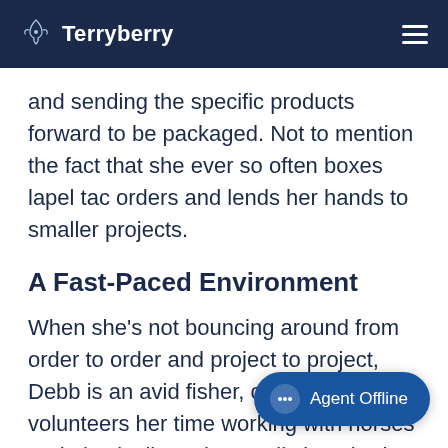Terryberry
and sending the specific products forward to be packaged. Not to mention the fact that she ever so often boxes lapel tac orders and lends her hands to smaller projects.
A Fast-Paced Environment
When she’s not bouncing around from order to order and project to project, Debb is an avid fisher, camper and volunteers her time working with horses and physically and mentally impaired children. In a past life, Debb did some woodworking in the furniture industry as well as interior plantscaping. She